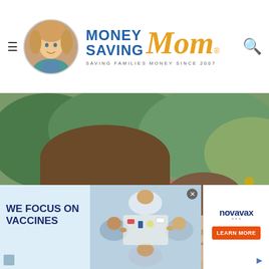Money Saving Mom® — SAVING FAMILIES MONEY SINCE 2007
[Figure (photo): Couple selfie outdoors with flowers and greenery in background — man with brown hair on left smiling, woman with brown hair on right, pink coneflowers and yellow flowers visible behind them]
[Figure (infographic): Advertisement banner: WE FOCUS ON VACCINES — Novavax — LEARN MORE button. Shows medical workers in scrubs from above view on right side.]